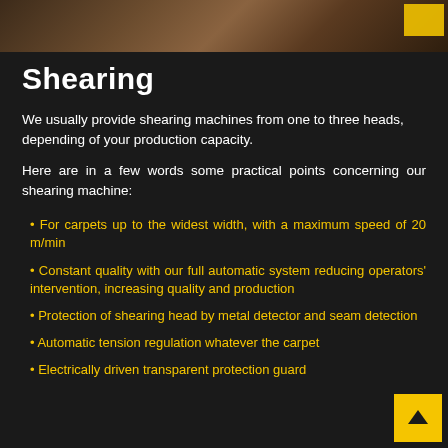[Figure (photo): Partial image of carpet shearing machinery in a dark industrial setting, shown at the top of the page as a photo strip.]
Shearing
We usually provide shearing machines from one to three heads, depending of your production capacity.
Here are in a few words some practical points concerning our shearing machine:
For carpets up to the widest width, with a maximum speed of 20 m/min
Constant quality with our full automatic system reducing operators' intervention, increasing quality and production
Protection of shearing head by metal detector and seam detection
Automatic tension regulation whatever the carpet
Electrically driven transparent protection guard